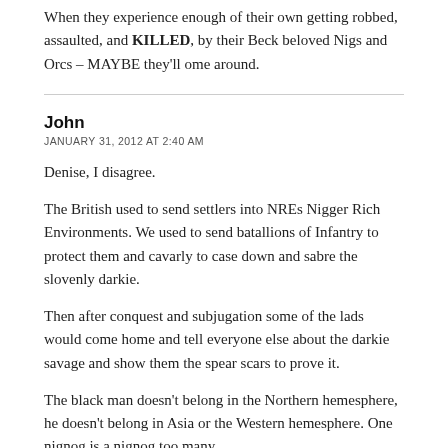When they experience enough of their own getting robbed, assaulted, and KILLED, by their Beck beloved Nigs and Orcs – MAYBE they'll ome around.
John
JANUARY 31, 2012 AT 2:40 AM
Denise, I disagree.
The British used to send settlers into NREs Nigger Rich Environments. We used to send batallions of Infantry to protect them and cavarly to case down and sabre the slovenly darkie.
Then after conquest and subjugation some of the lads would come home and tell everyone else about the darkie savage and show them the spear scars to prove it.
The black man doesn't belong in the Northern hemesphere, he doesn't belong in Asia or the Western hemesphere. One nignog is a nignog too many.